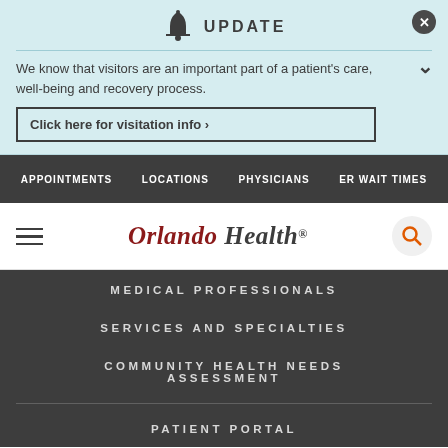UPDATE
We know that visitors are an important part of a patient's care, well-being and recovery process.
Click here for visitation info ›
APPOINTMENTS  LOCATIONS  PHYSICIANS  ER WAIT TIMES
[Figure (logo): Orlando Health logo with hamburger menu icon on left and search icon on right]
MEDICAL PROFESSIONALS
SERVICES AND SPECIALTIES
COMMUNITY HEALTH NEEDS ASSESSMENT
PATIENT PORTAL